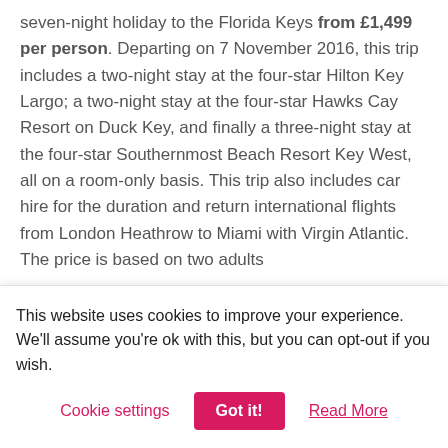seven-night holiday to the Florida Keys from £1,499 per person. Departing on 7 November 2016, this trip includes a two-night stay at the four-star Hilton Key Largo; a two-night stay at the four-star Hawks Cay Resort on Duck Key, and finally a three-night stay at the four-star Southernmost Beach Resort Key West, all on a room-only basis. This trip also includes car hire for the duration and return international flights from London Heathrow to Miami with Virgin Atlantic. The price is based on two adults
This website uses cookies to improve your experience. We'll assume you're ok with this, but you can opt-out if you wish.
Cookie settings | Got it! | Read More